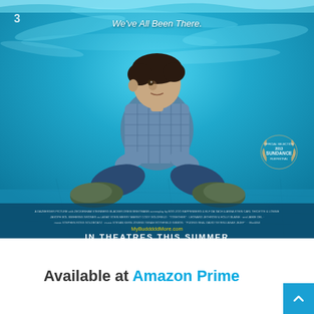[Figure (photo): Movie poster showing a teenage boy sitting cross-legged on the bottom of a swimming pool, looking upward. The background is bright turquoise/blue water. Text reads 'We've All Been There.' at the top. Sundance Film Festival Official Selection badge visible bottom right. Small credits text and 'IN THEATRES THIS SUMMER' at the bottom of the poster.]
Available at Amazon Prime